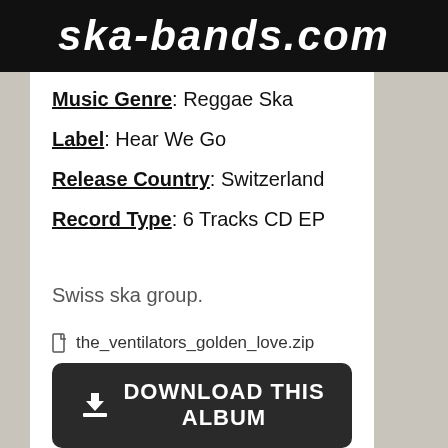ska-bands.com
Music Genre: Reggae Ska
Label: Hear We Go
Release Country: Switzerland
Record Type: 6 Tracks CD EP
Swiss ska group.
the_ventilators_golden_love.zip
DOWNLOAD THIS ALBUM